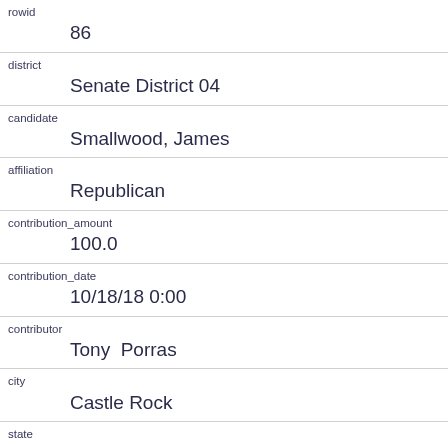| field | value |
| --- | --- |
| rowid | 86 |
| district | Senate District 04 |
| candidate | Smallwood, James |
| affiliation | Republican |
| contribution_amount | 100.0 |
| contribution_date | 10/18/18 0:00 |
| contributor | Tony  Porras |
| city | Castle Rock |
| state | CO |
| zip | 80104 |
| employer |  |